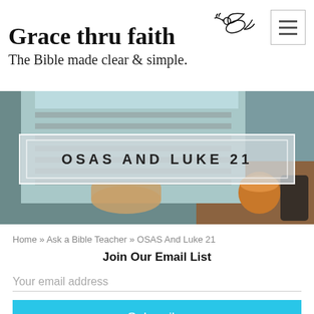Grace thru faith — The Bible made clear & simple.
[Figure (illustration): Dove illustration (logo) and hamburger menu icon]
[Figure (photo): Hero image: overhead photo of hands typing on a laptop with a coffee cup, with overlay box reading 'OSAS AND LUKE 21' in bold spaced uppercase letters]
Home » Ask a Bible Teacher » OSAS And Luke 21
Join Our Email List
Your email address
Subscribe